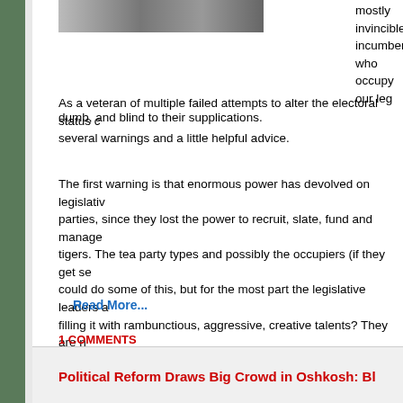[Figure (photo): Small photo/thumbnail of a person, cropped at top of page]
mostly invincible incumbents who occupy our leg dumb, and blind to their supplications.
As a veteran of multiple failed attempts to alter the electoral status c several warnings and a little helpful advice.
The first warning is that enormous power has devolved on legislativ parties, since they lost the power to recruit, slate, fund and manage tigers. The tea party types and possibly the occupiers (if they get se could do some of this, but for the most part the legislative leaders a filling it with rambunctious, aggressive, creative talents? They are n Empty suits. Followers. To a very large extent they seem to have go state.
Read More...
1 COMMENTS
LABELS: BLOG - NOVEMBER 2011, WISCONSIN POLITICAL FIX
Political Reform Draws Big Crowd in Oshkosh: Bl